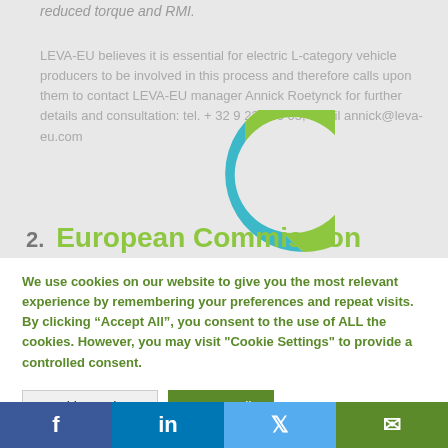reduced torque and RMI.
LEVA-EU believes it is essential for electric L-category vehicle producers to be involved in this process and therefore calls upon them to contact LEVA-EU manager Annick Roetynck for further details and consultation: tel. + 32 9 233 60 05, email annick@leva-eu.com
[Figure (donut-chart): Donut chart with green and blue segments, mostly green with small blue portion at top right]
2. European Commission
We use cookies on our website to give you the most relevant experience by remembering your preferences and repeat visits. By clicking “Accept All”, you consent to the use of ALL the cookies. However, you may visit "Cookie Settings" to provide a controlled consent.
Cookie Settings | Accept All
Facebook | LinkedIn | Twitter | Email